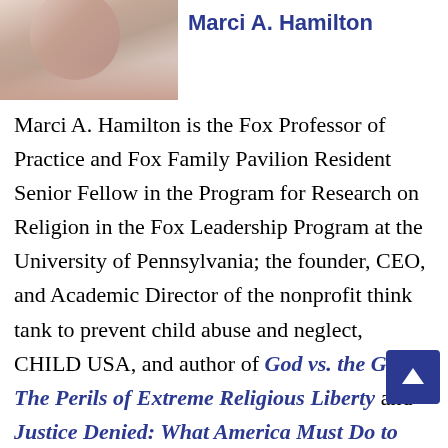[Figure (photo): Headshot photo of Marci A. Hamilton]
Marci A. Hamilton
Marci A. Hamilton is the Fox Professor of Practice and Fox Family Pavilion Resident Senior Fellow in the Program for Research on Religion in the Fox Leadership Program at the University of Pennsylvania; the founder, CEO, and Academic Director of the nonprofit think tank to prevent child abuse and neglect, CHILD USA, and author of God vs. the Gavel: The Perils of Extreme Religious Liberty and Justice Denied: What America Must Do to Protect Its Children. She also runs two active websites covering her areas of